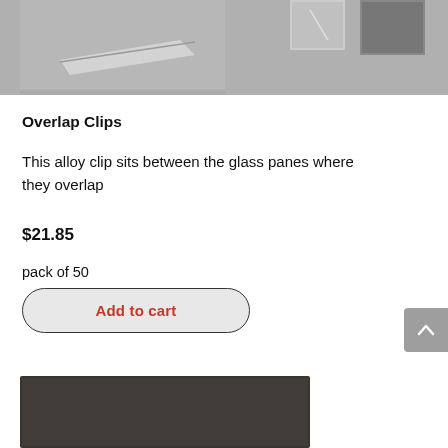[Figure (photo): Top portion of a product image showing glass overlap clips on a surface, partially cropped at top]
Overlap Clips
This alloy clip sits between the glass panes where they overlap
$21.85
pack of 50
Add to cart
[Figure (photo): Bottom portion of another product image showing a dark surface, partially cropped]